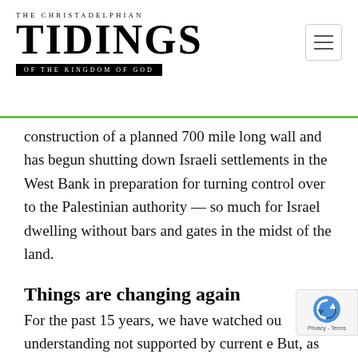THE CHRISTADELPHIAN TIDINGS OF THE KINGDOM OF GOD
construction of a planned 700 mile long wall and has begun shutting down Israeli settlements in the West Bank in preparation for turning control over to the Palestinian authority — so much for Israel dwelling without bars and gates in the midst of the land.
Things are changing again
For the past 15 years, we have watched our understanding not supported by current e But, as Bro. Rayner notes in his, "Signs of the